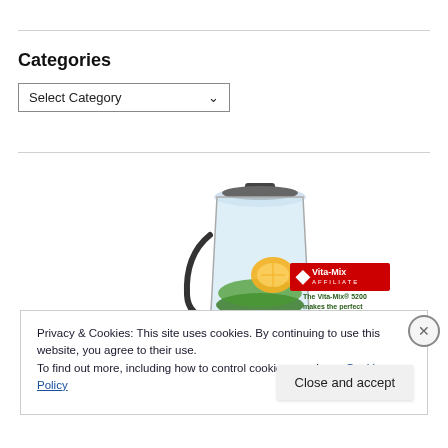Categories
Select Category
[Figure (screenshot): Vita-Mix blender with green smoothie ingredients inside, Vita-Mix 5200 affiliate advertisement with tagline 'The Vita-Mix 5200 makes the perfect green smoothie!']
Privacy & Cookies: This site uses cookies. By continuing to use this website, you agree to their use.
To find out more, including how to control cookies, see here: Cookie Policy
Close and accept